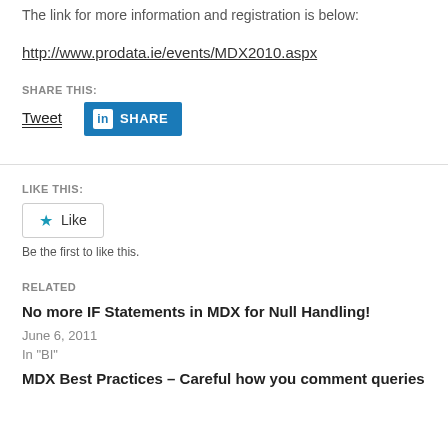The link for more information and registration is below:
http://www.prodata.ie/events/MDX2010.aspx
SHARE THIS:
[Figure (other): Tweet link and LinkedIn Share button]
LIKE THIS:
[Figure (other): Like button widget]
Be the first to like this.
RELATED
No more IF Statements in MDX for Null Handling!
June 6, 2011
In "BI"
MDX Best Practices – Careful how you comment queries